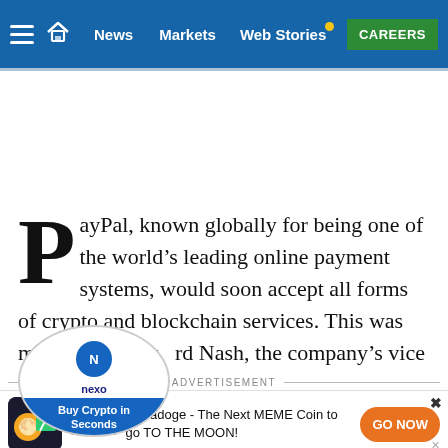News | Markets | Web Stories | CAREERS
PayPal, known globally for being one of the world’s leading online payment systems, would soon accept all forms of crypto and blockchain services. This was made known by rd Nash, the company’s vice president.
ADVERTISEMENT
TOP STORY: Tamadoge - The Next MEME Coin to go TO THE MOON!